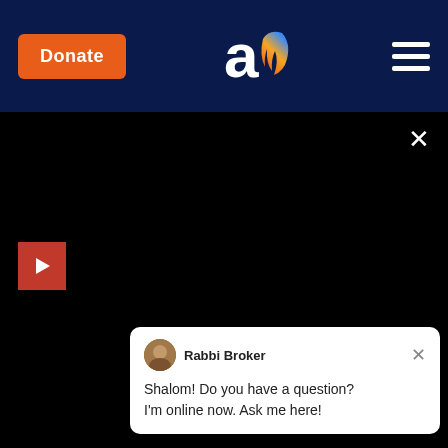[Figure (screenshot): Navigation bar with Donate button, Aish logo, and hamburger menu on dark navy background]
[Figure (screenshot): Black content/video panel with play button, close button, and READ MORE button overlay]
Sections
Resources
Spirituality
Western Wall Camera
Israel
Holocaust
Family
Ask The Rabbi
Dating
Candlelighting Times
Judaism 101
Jewish Name & Birthdays
Jewlarious
Kaddish Service
Holidays
Aish Aud…
Videos
Rabbi N…
Weekly Torah Portion
Seminar…
Rabbi Broker
Shalom! Do you have a question? I'm online now. Ask me here!